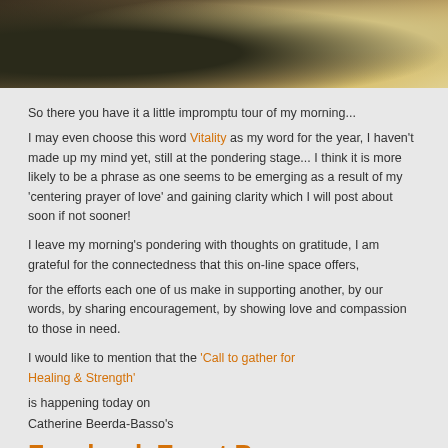[Figure (photo): Partial photograph of rocks/moss and bright sandy/yellow textured surface - nature close-up image cropped at top]
So there you have it a little impromptu tour of my morning...
I may even choose this word Vitality as my word for the year, I haven't made up my mind yet, still at the pondering stage... I think it is more likely to be a phrase as one seems to be emerging as a result of my 'centering prayer of love' and gaining clarity which I will post about soon if not sooner!
I leave my morning's pondering with thoughts on gratitude, I am grateful for the connectedness that this on-line space offers,
for the efforts each one of us make in supporting another, by our words, by sharing encouragement, by showing love and compassion to those in need.
I would like to mention that the 'Call to gather for Healing & Strength'
is happening today on
Catherine Beerda-Basso's
Facebook Event Page
Please visit and offer a candle for Kelly who has written the most beautiful post at: